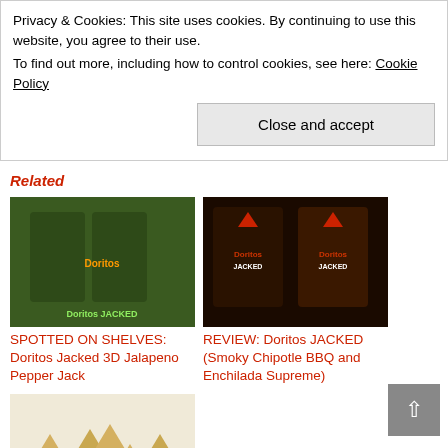Privacy & Cookies: This site uses cookies. By continuing to use this website, you agree to their use.
To find out more, including how to control cookies, see here: Cookie Policy
Close and accept
Related
[Figure (photo): Green bags of Doritos Jacked product on shelves]
SPOTTED ON SHELVES: Doritos Jacked 3D Jalapeno Pepper Jack
[Figure (photo): Dark bags of Doritos Jacked Smoky Chipotle BBQ and Enchilada Supreme]
REVIEW: Doritos JACKED (Smoky Chipotle BBQ and Enchilada Supreme)
[Figure (photo): Triangle-shaped Doritos 3D chips on white background]
REVIEW: Doritos 3D